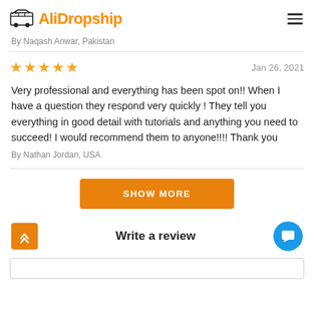AliDropship
By Naqash Anwar, Pakistan
★★★★★   Jan 26, 2021
Very professional and everything has been spot on!! When I have a question they respond very quickly ! They tell you everything in good detail with tutorials and anything you need to succeed! I would recommend them to anyone!!!! Thank you
By Nathan Jordan, USA
SHOW MORE
Write a review